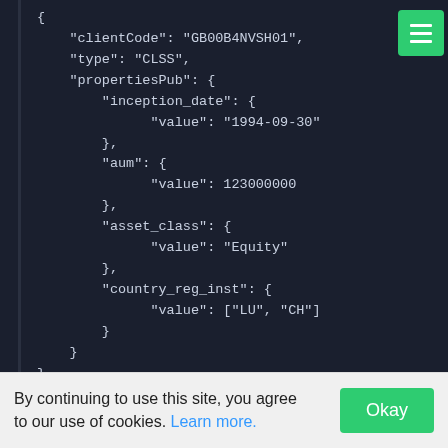[Figure (screenshot): JSON code block on dark background showing a financial instrument object with fields: clientCode, type, propertiesPub containing inception_date (1994-09-30), aum (123000000), asset_class (Equity), country_reg_inst ([LU, CH]). A green hamburger menu button is in top-right corner.]
By continuing to use this site, you agree to our use of cookies. Learn more.